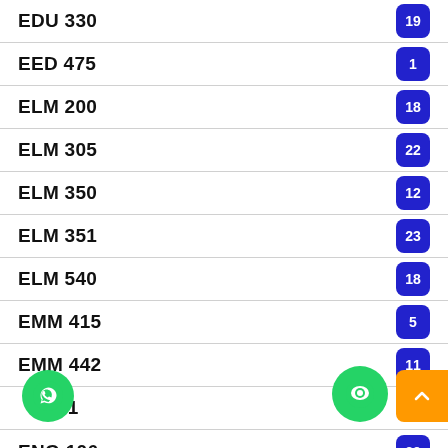EDU 330 — 19
EED 475 — 1
ELM 200 — 18
ELM 305 — 22
ELM 350 — 12
ELM 351 — 23
ELM 540 — 18
EMM 415 — 5
EMM 442 — 11
EMM 641
ENG 106 — 39